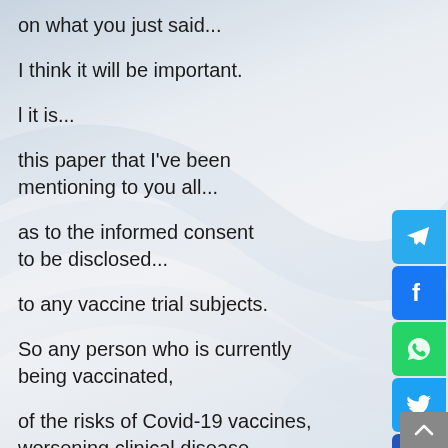on what you just said...
I think it will be important.
l it is...
this paper that I've been mentioning to you all...
as to the informed consent to be disclosed...
to any vaccine trial subjects.
So any person who is currently being vaccinated,
of the risks of Covid-19 vaccines, worsening clinical disease.
[Figure (screenshot): Social media share buttons on right side: Telegram, Facebook, WhatsApp, Twitter, Share (plus icon). Scroll-to-top button bottom right.]